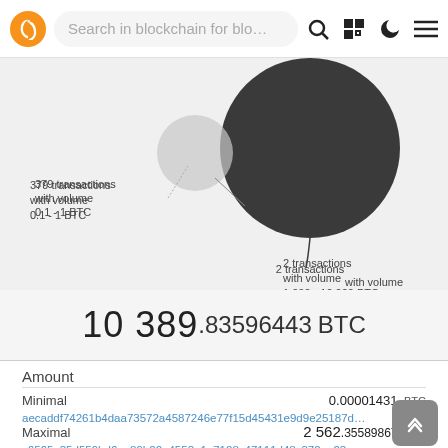Search in blockchain for blo…
[Figure (bubble-chart): Bubble chart showing transaction volumes. One annotation: '379 transactions with volume 0.1 - 1 BTC' pointing to a smaller bubble. Another annotation: '2 transactions with volume 1 000 - 10 000 BTC' pointing to a large dark bubble.]
10 389.83596443 BTC
Amount
Minimal 0.00001431 BTC
aecaddf74261b4daa73572a4587246e77f15d45431e9d9e25187d…
Maximal 2 562.35589867 BTC
c6565a35d559bd6ee89b00e4553e1a7108c47111d48c370ea23cc…
Avearge 4.08405501 BTC